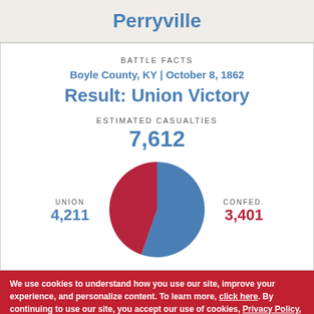Perryville
BATTLE FACTS
Boyle County, KY | October 8, 1862
Result: Union Victory
ESTIMATED CASUALTIES
7,612
[Figure (pie-chart): Casualties by side]
UNION
4,211
CONFED.
3,401
We use cookies to understand how you use our site, improve your experience, and personalize content. To learn more, click here. By continuing to use our site, you accept our use of cookies, Privacy Policy, and Terms of Service.